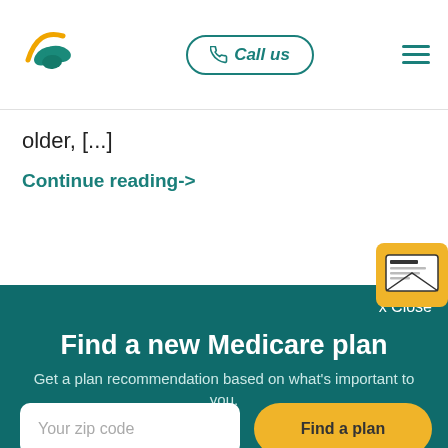[Figure (logo): Health insurance website logo — stylized leaf/plant icon in teal and orange]
Call us
[Figure (illustration): Hamburger menu icon (three horizontal teal lines)]
older, [...]
Continue reading->
[Figure (illustration): News envelope icon with yellow background, showing a newspaper inside an open envelope]
x Close
Find a new Medicare plan
Get a plan recommendation based on what's important to you.
Your zip code
Find a plan